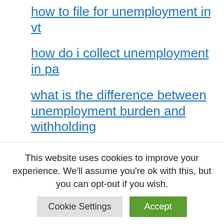how to file for unemployment in vt
how do i collect unemployment in pa
what is the difference between unemployment burden and withholding
how much is unemployment insurance in california
how do i analyze unemployment data with tableau
[partial link cut off at bottom]
This website uses cookies to improve your experience. We'll assume you're ok with this, but you can opt-out if you wish.
Cookie Settings | Accept